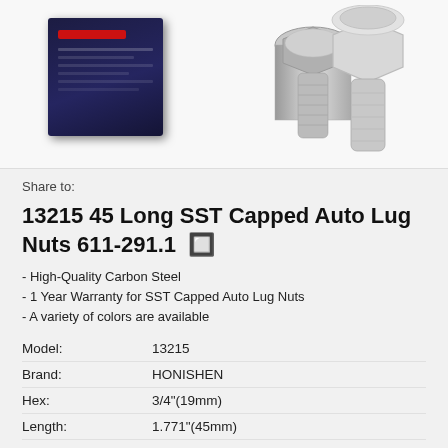[Figure (photo): Product photo showing a dark blue box packaging on the left and two silver/chrome lug nuts on the right against a white background.]
Share to:
13215 45 Long SST Capped Auto Lug Nuts 611-291.1  🔲
- High-Quality Carbon Steel
- 1 Year Warranty for SST Capped Auto Lug Nuts
- A variety of colors are available
| Model: | 13215 |
| Brand: | HONISHEN |
| Hex: | 3/4"(19mm) |
| Length: | 1.771"(45mm) |
| Grade: | 6,8 or 10 grade |
| Material: | carbon steel, alloy steel |